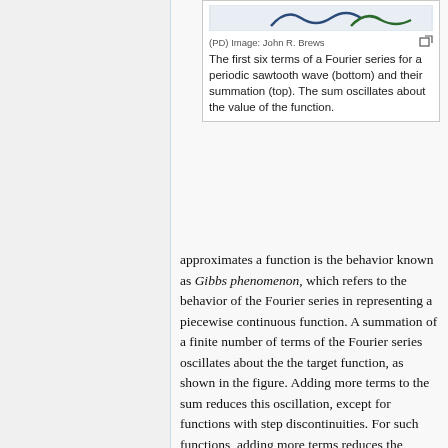[Figure (illustration): Top portion of a figure showing Fourier series terms for a periodic sawtooth wave, with wave icons visible at top]
(PD) Image: John R. Brews
The first six terms of a Fourier series for a periodic sawtooth wave (bottom) and their summation (top). The sum oscillates about the value of the function.
approximates a function is the behavior known as Gibbs phenomenon, which refers to the behavior of the Fourier series in representing a piecewise continuous function. A summation of a finite number of terms of the Fourier series oscillates about the the target function, as shown in the figure. Adding more terms to the sum reduces this oscillation, except for functions with step discontinuities. For such functions, adding more terms reduces the